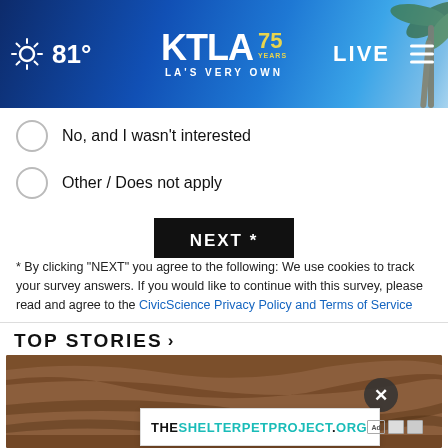[Figure (screenshot): KTLA 75 Years website header with weather (81°), KTLA logo, LIVE badge, and palm tree background]
No, and I wasn't interested
Other / Does not apply
NEXT *
* By clicking "NEXT" you agree to the following: We use cookies to track your survey answers. If you would like to continue with this survey, please read and agree to the CivicScience Privacy Policy and Terms of Service
TOP STORIES ›
[Figure (photo): Wood grain surface / table top photo]
[Figure (screenshot): THESHELTERPETPROJECT.ORG advertisement banner with ad icons]